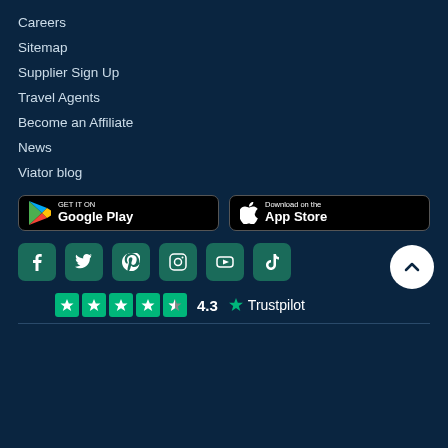Careers
Sitemap
Supplier Sign Up
Travel Agents
Become an Affiliate
News
Viator blog
[Figure (screenshot): Google Play and App Store download buttons]
[Figure (infographic): Social media icons: Facebook, Twitter, Pinterest, Instagram, YouTube, TikTok]
[Figure (logo): Trustpilot rating: 4.3 stars out of 5 with Trustpilot logo]